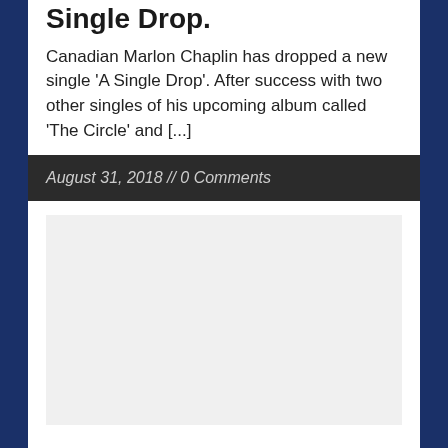Single Drop.
Canadian Marlon Chaplin has dropped a new single 'A Single Drop'. After success with two other singles of his upcoming album called 'The Circle' and [...]
August 31, 2018 // 0 Comments
[Figure (other): Light grey placeholder image block]